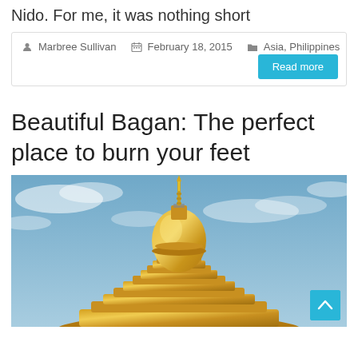Nido. For me, it was nothing short
Marbree Sullivan   February 18, 2015   Asia, Philippines
Read more
Beautiful Bagan: The perfect place to burn your feet
[Figure (photo): Golden stupa/pagoda photographed from below against a partly cloudy blue sky, in Bagan, Myanmar. The gilded dome-shaped structure fills most of the frame.]